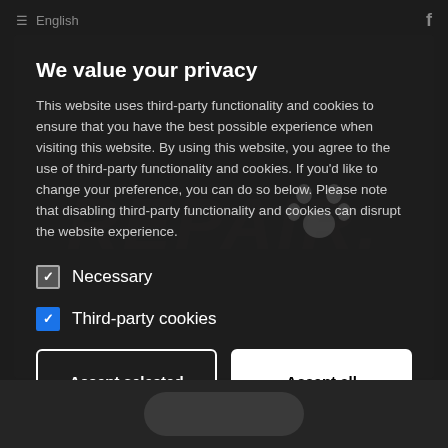English   f
We value your privacy
This website uses third-party functionality and cookies to ensure that you have the best possible experience when visiting this website. By using this website, you agree to the use of third-party functionality and cookies. If you'd like to change your preference, you can do so below. Please note that disabling third-party functionality and cookies can disrupt the website experience.
Necessary
Third-party cookies
Accept selected
Accept all